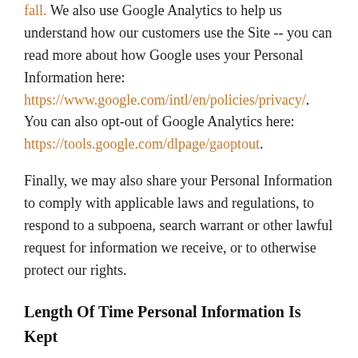fall. We also use Google Analytics to help us understand how our customers use the Site -- you can read more about how Google uses your Personal Information here: https://www.google.com/intl/en/policies/privacy/. You can also opt-out of Google Analytics here: https://tools.google.com/dlpage/gaoptout.
Finally, we may also share your Personal Information to comply with applicable laws and regulations, to respond to a subpoena, search warrant or other lawful request for information we receive, or to otherwise protect our rights.
Length Of Time Personal Information Is Kept
Personal information is retained only for as long as necessary to provide you with services as described above. However, we may also be required to retain this information to comply with legal and regulatory obligations, for example 6 years as per Her Majesty's